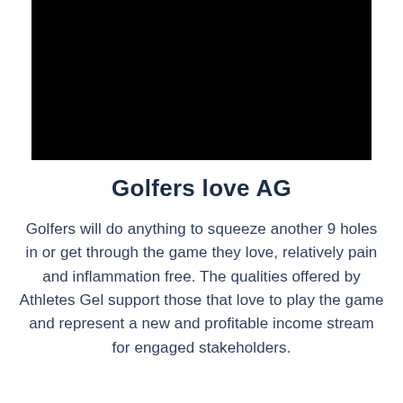[Figure (photo): Black rectangular image/photo block at the top of the page]
Golfers love AG
Golfers will do anything to squeeze another 9 holes in or get through the game they love, relatively pain and inflammation free. The qualities offered by Athletes Gel support those that love to play the game and represent a new and profitable income stream for engaged stakeholders.